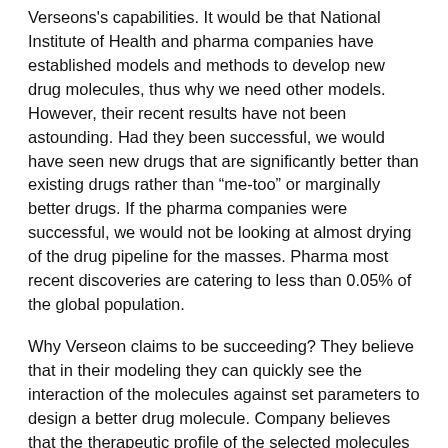Verseons's capabilities. It would be that National Institute of Health and pharma companies have established models and methods to develop new drug molecules, thus why we need other models. However, their recent results have not been astounding. Had they been successful, we would have seen new drugs that are significantly better than existing drugs rather than “me-too” or marginally better drugs. If the pharma companies were successful, we would not be looking at almost drying of the drug pipeline for the masses. Pharma most recent discoveries are catering to less than 0.05% of the global population.
Why Verseon claims to be succeeding? They believe that in their modeling they can quickly see the interaction of the molecules against set parameters to design a better drug molecule. Company believes that the therapeutic profile of the selected molecules has reduced drug interaction and they have higher performance. They will have to prove their hypothesis through clinical trials of the drugs under development.
Verseon is working on drugs for Diabetic Retinopathy,